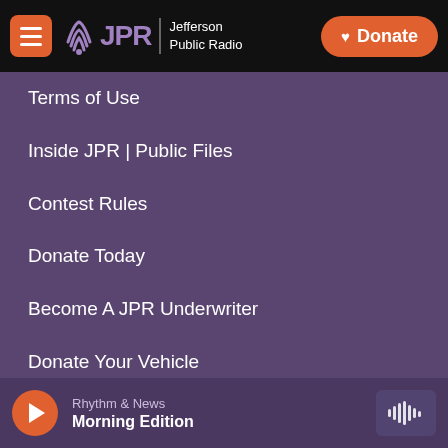JPR Jefferson Public Radio — Donate
Terms of Use
Inside JPR | Public Files
Contest Rules
Donate Today
Become A JPR Underwriter
Donate Your Vehicle
Bequests & Planned Gifts
Find A JPR Station
Rhythm & News — Morning Edition